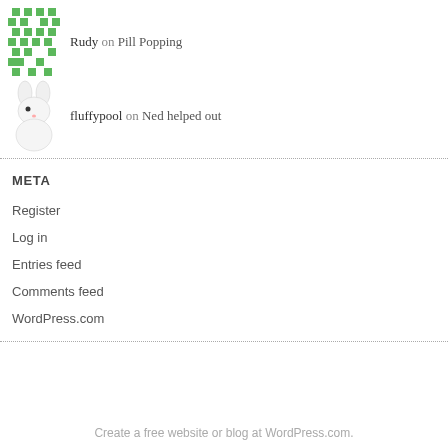Rudy on Pill Popping
fluffypool on Ned helped out
META
Register
Log in
Entries feed
Comments feed
WordPress.com
Create a free website or blog at WordPress.com.